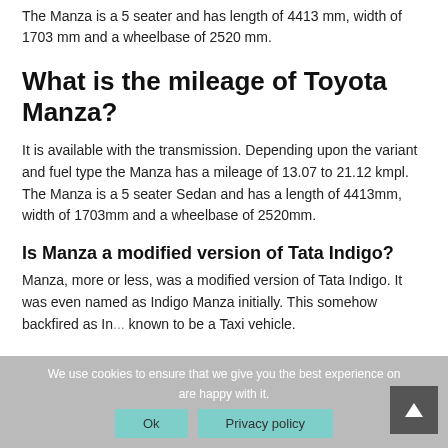The Manza is a 5 seater and has length of 4413 mm, width of 1703 mm and a wheelbase of 2520 mm.
What is the mileage of Toyota Manza?
It is available with the transmission. Depending upon the variant and fuel type the Manza has a mileage of 13.07 to 21.12 kmpl. The Manza is a 5 seater Sedan and has a length of 4413mm, width of 1703mm and a wheelbase of 2520mm.
Is Manza a modified version of Tata Indigo?
Manza, more or less, was a modified version of Tata Indigo. It was even named as Indigo Manza initially. This somehow backfired as In... known to be a Taxi vehicle.
We use cookies to ensure that we give you the best experience on are happy with it.